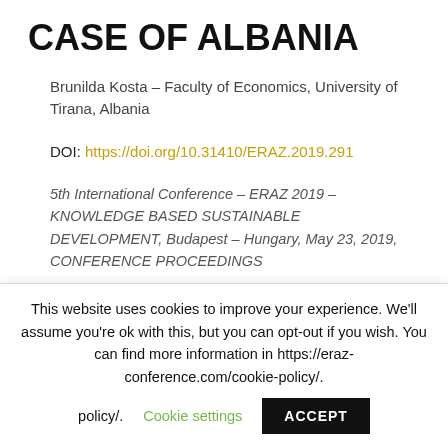CASE OF ALBANIA
Brunilda Kosta – Faculty of Economics, University of Tirana, Albania
DOI: https://doi.org/10.31410/ERAZ.2019.291
5th International Conference – ERAZ 2019 – KNOWLEDGE BASED SUSTAINABLE DEVELOPMENT, Budapest – Hungary, May 23, 2019, CONFERENCE PROCEEDINGS
Published by: Association of Economists and Managers of the
This website uses cookies to improve your experience. We'll assume you're ok with this, but you can opt-out if you wish. You can find more information in https://eraz-conference.com/cookie-policy/.
Cookie settings
ACCEPT